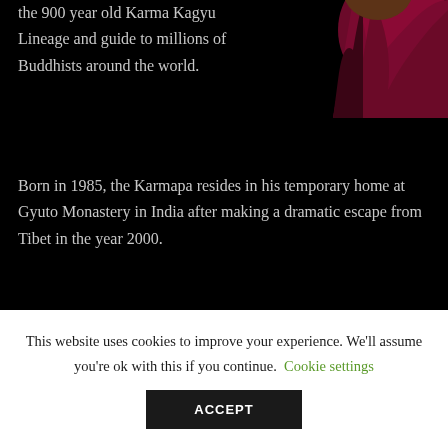the 900 year old Karma Kagyu Lineage and guide to millions of Buddhists around the world.
[Figure (illustration): Partial image of a Buddhist monk in maroon/dark red robes, top-right corner of page]
Born in 1985, the Karmapa resides in his temporary home at Gyuto Monastery in India after making a dramatic escape from Tibet in the year 2000.
Traveling the world, the Karmapa skillfully teaches traditional Tibetan Buddhist Dharma while also
This website uses cookies to improve your experience. We'll assume you're ok with this if you continue. Cookie settings ACCEPT